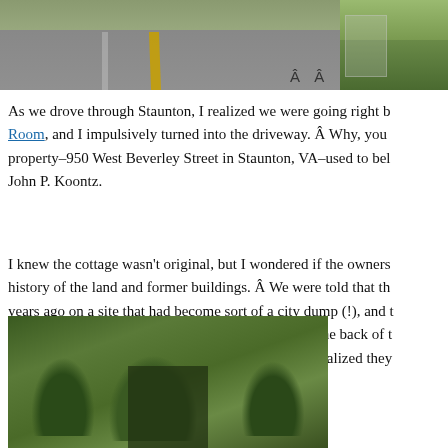[Figure (photo): Top-left photo of a road with yellow center line; top-right partial photo of a rural scene with fence and trees. Characters 'Â Â' appear between the two images.]
As we drove through Staunton, I realized we were going right b... Room, and I impulsively turned into the driveway. Â Why, you... property–950 West Beverley Street in Staunton, VA–used to bel... John P. Koontz.
I knew the cottage wasn't original, but I wondered if the owners... history of the land and former buildings. Â We were told that th... years ago on a site that had become sort of a city dump (!), and... the site. Â At first I thought one of these houses (at the back of t... have been my great-grandfather's house, but then I realized they... on West Beverley.
[Figure (photo): Bottom photo showing trees and overgrown vegetation, possibly covering a building.]